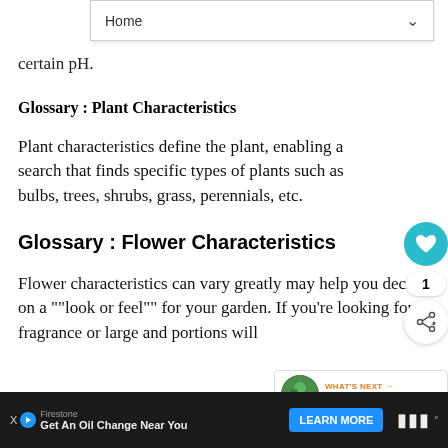certain pH.
Glossary : Plant Characteristics
Plant characteristics define the plant, enabling a search that finds specific types of plants such as bulbs, trees, shrubs, grass, perennials, etc.
Glossary : Flower Characteristics
Flower characteristics can vary greatly may help you decide on a ""look or feel"" for your garden. If you're looking for fragrance or large and portions will